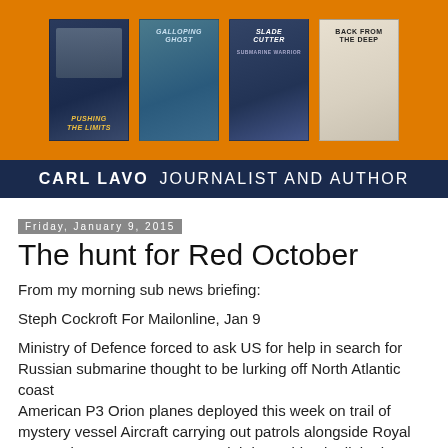[Figure (illustration): Banner with four book covers on an orange background: 'Pushing the Limits', 'Galloping Ghost', 'Slade Cutter Submarine Warrior', and 'Back from the Deep', arranged in a row.]
CARL LAVO  JOURNALIST AND AUTHOR
Friday, January 9, 2015
The hunt for Red October
From my morning sub news briefing:
Steph Cockroft For Mailonline, Jan 9
Ministry of Defence forced to ask US for help in search for Russian submarine thought to be lurking off North Atlantic coast
American P3 Orion planes deployed this week on trail of mystery vessel Aircraft carrying out patrols alongside Royal Navy Frigate, HMS Somerset Sighting said to be linked to